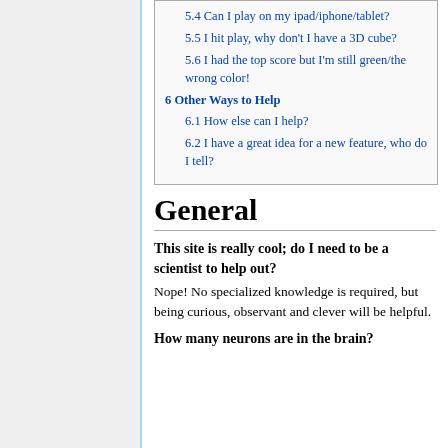5.4 Can I play on my ipad/iphone/tablet?
5.5 I hit play, why don't I have a 3D cube?
5.6 I had the top score but I'm still green/the wrong color!
6 Other Ways to Help
6.1 How else can I help?
6.2 I have a great idea for a new feature, who do I tell?
General
This site is really cool; do I need to be a scientist to help out?
Nope! No specialized knowledge is required, but being curious, observant and clever will be helpful.
How many neurons are in the brain?